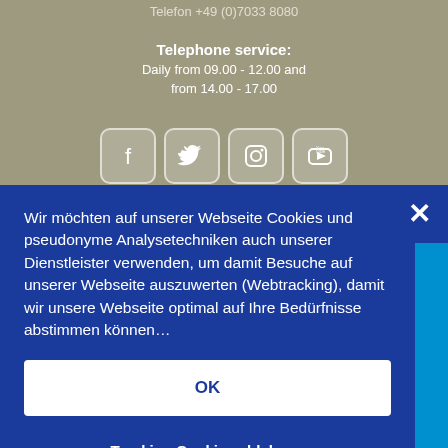Telefon +49 (0)7033 8080
Telephone service:
Daily from 09.00 - 12.00 and from 14.00 - 17.00
[Figure (illustration): Social media icons: Facebook, Twitter, Instagram, YouTube]
Wir möchten auf unserer Webseite Cookies und pseudonyme Analysetechniken auch unserer Dienstleister verwenden, um damit Besuche auf unserer Webseite auszuwerten (Webtracking), damit wir unsere Webseite optimal auf Ihre Bedürfnisse abstimmen können.
OK
Tracking Cookies ablehnen